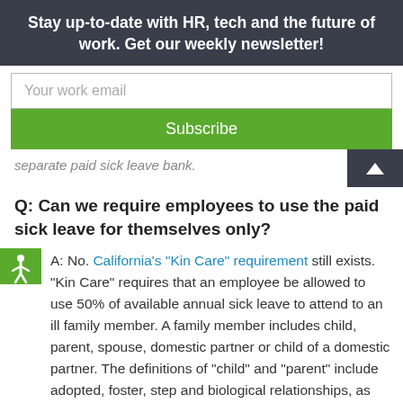Stay up-to-date with HR, tech and the future of work. Get our weekly newsletter!
Your work email
Subscribe
separate paid sick leave bank.
Q: Can we require employees to use the paid sick leave for themselves only?
A: No. California’s “Kin Care” requirement still exists. “Kin Care” requires that an employee be allowed to use 50% of available annual sick leave to attend to an ill family member. A family member includes child, parent, spouse, domestic partner or child of a domestic partner. The definitions of “child” and “parent” include adopted, foster, step and biological relationships, as well as legal guardians and wards. The criterion for domestic partnership is defined in Family Code Section